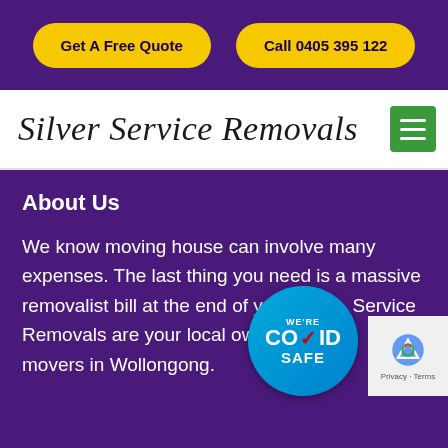Get A Free Quote | Call 0405 395 122
Silver Service Removals
About Us
We know moving house can involve many expenses. The last thing you need is a massive removalist bill at the end of your move. Service Removals are your local owner/operated movers in Wollongong.
[Figure (infographic): WE'RE COVID SAFE badge - circular blue badge with COVID SAFE text and red checkmark]
[Figure (other): reCAPTCHA widget with logo and Privacy - Terms text]
✉ Book Free Consultation Today